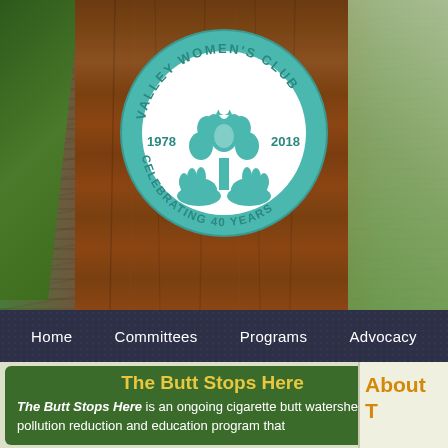[Figure (photo): Hero banner showing a large redwood tree trunk with greenery on sides, with Valley Women's Club 40th anniversary logo circle overlaid in teal]
[Figure (logo): Valley Women's Club circular logo in teal: text 'VALLEY WOMEN'S CLUB' around top arc, '1978' and '2018' on sides, decorative tree with hands at bottom, 'CELEBRATING 40 YEARS' around bottom arc]
Home   Committees   Programs   Advocacy
The Butt Stops Here
The Butt Stops Here is an ongoing cigarette butt watershed pollution reduction and education program that
About T